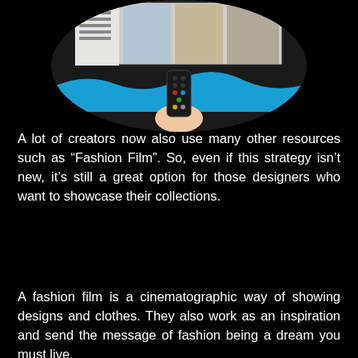[Figure (photo): A circular-cropped composite image showing a fashion website on a monitor (with male models in clothes) at the top, and a hand holding a TV remote control below, with a blue wave shape separating them, all on a black background.]
A lot of creators now also use many other resources such as “Fashion Film”. So, even if this strategy isn’t new, it’s still a great option for those designers who want to showcase their collections.
A fashion film is a cinematographic way of showing designs and clothes. They also work as an inspiration and send the message of fashion being a dream you must live.